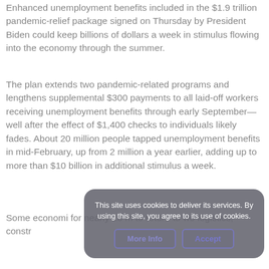Enhanced unemployment benefits included in the $1.9 trillion pandemic-relief package signed on Thursday by President Biden could keep billions of dollars a week in stimulus flowing into the economy through the summer.
The plan extends two pandemic-related programs and lengthens supplemental $300 payments to all laid-off workers receiving unemployment benefits through early September—well after the effect of $1,400 checks to individuals likely fades. About 20 million people tapped unemployment benefits in mid-February, up from 2 million a year earlier, adding up to more than $10 billion in additional stimulus a week.
Some economi... for nearly 18 m... to return to wo... logistics, constr...
This site uses cookies to deliver its services. By using this site, you agree to its use of cookies.